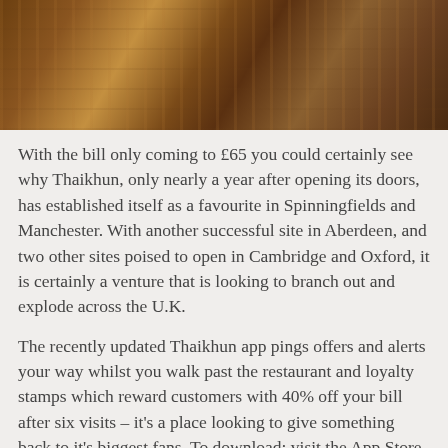[Figure (photo): Interior photo of a restaurant showing wooden tables and chairs with warm amber/brown tones, viewed from above at an angle.]
With the bill only coming to £65 you could certainly see why Thaikhun, only nearly a year after opening its doors, has established itself as a favourite in Spinningfields and Manchester. With another successful site in Aberdeen, and two other sites poised to open in Cambridge and Oxford, it is certainly a venture that is looking to branch out and explode across the U.K.
The recently updated Thaikhun app pings offers and alerts your way whilst you walk past the restaurant and loyalty stamps which reward customers with 40% off your bill after six visits – it's a place looking to give something back to it's biggest fans. To download: visit the App Store or text 64446.
With new food and cocktail menus expected next week